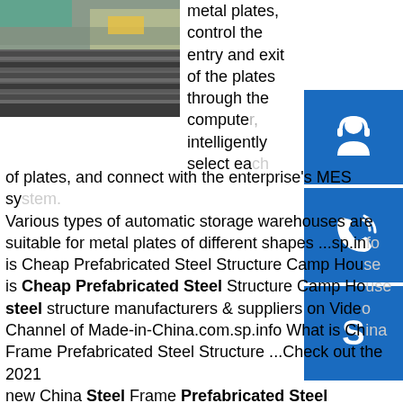[Figure (photo): Photo of stacked metal H-beams/steel plates in an industrial storage yard]
metal plates, control the entry and exit of the plates through the computer, intelligently select each of plates, and connect with the enterprise's MES system. Various types of automatic storage warehouses are suitable for metal plates of different shapes ...sp.info is Cheap Prefabricated Steel Structure Camp House is Cheap Prefabricated Steel Structure Camp House steel structure manufacturers & suppliers on Video Channel of Made-in-China.com.sp.info What is China Frame Prefabricated Steel Structure ...Check out the 2021 new China Steel Frame Prefabricated Steel Structure Building for Steel Warehouse with CE Certificate from Qingdao Steel Building Co., Ltd.. Here are multi-dimension videos for your reference such as product videos and company videos.sp.info Steel shelving in South Africa | Gumtree Classifieds in ...4-bedroom complete brick house sitting on a massive 4200sqm of landSparking blue pool
[Figure (other): Blue customer service / headset icon button]
[Figure (other): Blue phone / call icon button]
[Figure (other): Blue Skype icon button]